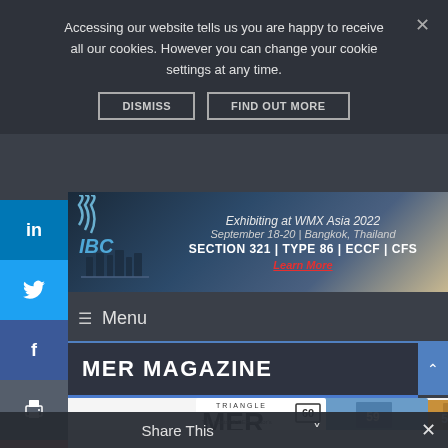Accessing our website tells us you are happy to receive all our cookies. However you can change your cookie settings at any time.
DISMISS
FIND OUT MORE
[Figure (other): IBC advertisement banner for WMX Asia 2022, September 18-20, Bangkok Thailand, Section 321, Type 86, ECCF, CFS. Learn More link in red.]
Menu
MER MAGAZINE
[Figure (other): Stack of MER magazine issues numbered 60, 59, and 58]
Share This